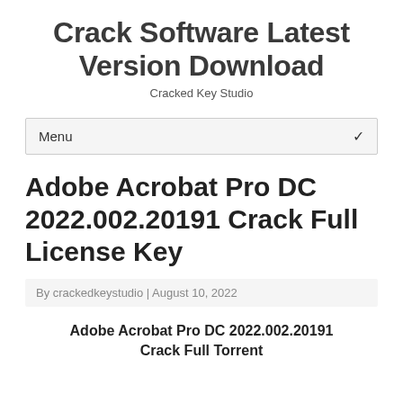Crack Software Latest Version Download
Cracked Key Studio
Menu
Adobe Acrobat Pro DC 2022.002.20191 Crack Full License Key
By crackedkeystudio | August 10, 2022
Adobe Acrobat Pro DC 2022.002.20191 Crack Full Torrent